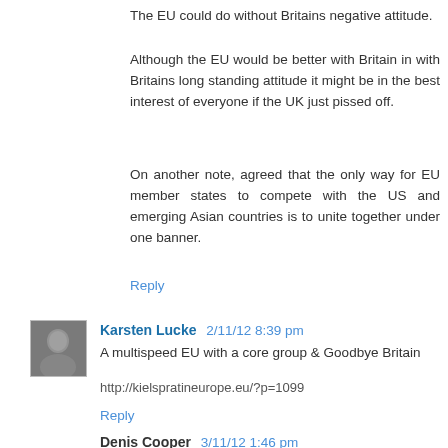The EU could do without Britains negative attitude.
Although the EU would be better with Britain in with Britains long standing attitude it might be in the best interest of everyone if the UK just pissed off.
On another note, agreed that the only way for EU member states to compete with the US and emerging Asian countries is to unite together under one banner.
Reply
[Figure (photo): Small avatar photo of Karsten Lucke]
Karsten Lucke 2/11/12 8:39 pm
A multispeed EU with a core group & Goodbye Britain
http://kielspratineurope.eu/?p=1099
Reply
Denis Cooper 3/11/12 1:46 pm